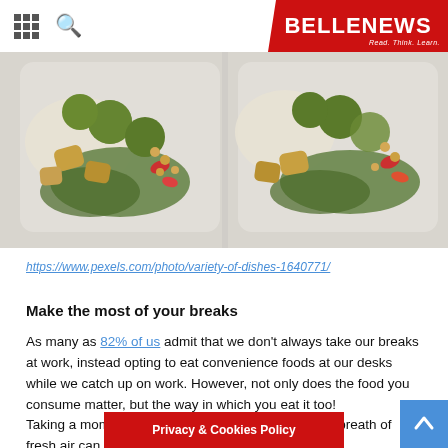BELLENEWS - Read. Think. Learn.
[Figure (photo): Two plastic containers filled with colorful meal prep food including falafel balls, rice, roasted potatoes, chickpeas, red peppers, and kale, viewed from above on a light gray surface.]
https://www.pexels.com/photo/variety-of-dishes-1640771/
Make the most of your breaks
As many as 82% of us admit that we don't always take our breaks at work, instead opting to eat convenience foods at our desks while we catch up on work. However, not only does the food you consume matter, but the way in which you eat it too!
Taking a moment to appreciate our food and have a breath of fresh air can actually make incredibl... attitude. It is